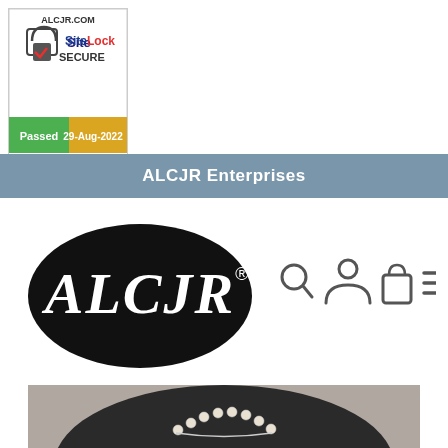[Figure (logo): SiteLock SECURE badge for ALCJR.COM, showing a padlock icon with checkmark, text 'SiteLock SECURE', and 'Passed 29-Aug-2022' in yellow/green bar at bottom]
ALCJR Enterprises
[Figure (logo): ALCJR brand logo: black oval with white italic script letters 'ALCJR' and registered trademark symbol]
[Figure (other): Navigation icons: search magnifying glass, user/person icon, shopping bag icon, hamburger menu icon]
[Figure (photo): Partial photo of jewelry (pearl bracelet or necklace) on a dark circular surface, visible at bottom of page]